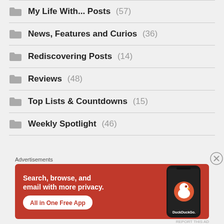My Life With... Posts (57)
News, Features and Curios (36)
Rediscovering Posts (14)
Reviews (48)
Top Lists & Countdowns (15)
Weekly Spotlight (46)
[Figure (screenshot): DuckDuckGo advertisement banner: orange background with text 'Search, browse, and email with more privacy. All in One Free App' alongside a phone graphic showing DuckDuckGo app]
Advertisements